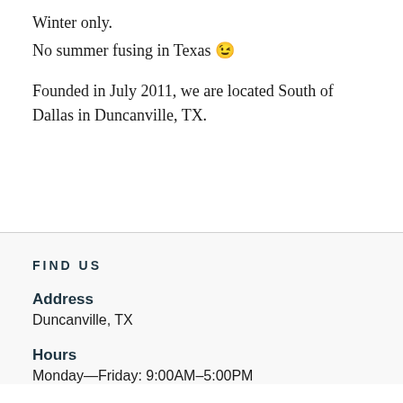Winter only.
No summer fusing in Texas 😉
Founded in July 2011, we are located South of Dallas in Duncanville, TX.
FIND US
Address
Duncanville, TX
Hours
Monday—Friday: 9:00AM–5:00PM